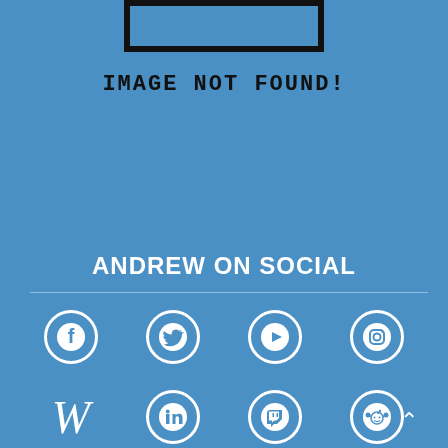[Figure (illustration): Partial image broken/not-found box with thick black border at top of page]
IMAGE NOT FOUND!
ANDREW ON SOCIAL
[Figure (illustration): Social media icons: Facebook, Twitter, YouTube, Instagram (row 1); Wikipedia, LinkedIn, Twitch, Reddit (row 2)]